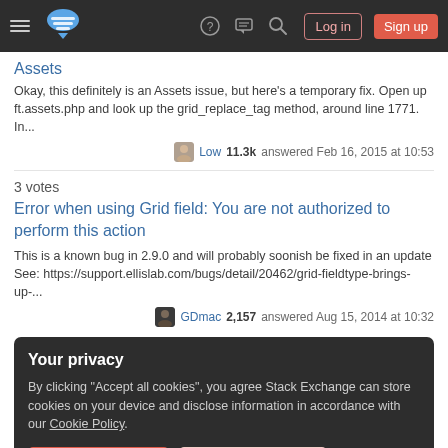Stack Exchange navigation bar with hamburger menu, logo, help, chat, search, Log in, Sign up buttons
Assets
Okay, this definitely is an Assets issue, but here's a temporary fix. Open up ft.assets.php and look up the grid_replace_tag method, around line 1771. In...
Low 11.3k answered Feb 16, 2015 at 10:53
3 votes
Error when using Grid field: You are not authorized to perform this action
This is a known bug in 2.9.0 and will probably soonish be fixed in an update See: https://support.ellislab.com/bugs/detail/20462/grid-fieldtype-brings-up-...
GDmac 2,157 answered Aug 15, 2014 at 10:32
Your privacy
By clicking "Accept all cookies", you agree Stack Exchange can store cookies on your device and disclose information in accordance with our Cookie Policy.
Accept all cookies  Customize settings
3 votes